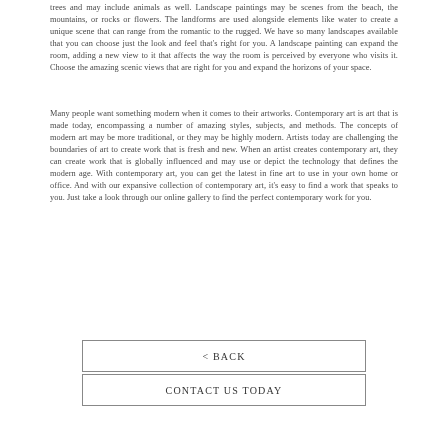trees and may include animals as well. Landscape paintings may be scenes from the beach, the mountains, or rocks or flowers. The landforms are used alongside elements like water to create a unique scene that can range from the romantic to the rugged. We have so many landscapes available that you can choose just the look and feel that's right for you. A landscape painting can expand the room, adding a new view to it that affects the way the room is perceived by everyone who visits it. Choose the amazing scenic views that are right for you and expand the horizons of your space.
Many people want something modern when it comes to their artworks. Contemporary art is art that is made today, encompassing a number of amazing styles, subjects, and methods. The concepts of modern art may be more traditional, or they may be highly modern. Artists today are challenging the boundaries of art to create work that is fresh and new. When an artist creates contemporary art, they can create work that is globally influenced and may use or depict the technology that defines the modern age. With contemporary art, you can get the latest in fine art to use in your own home or office. And with our expansive collection of contemporary art, it's easy to find a work that speaks to you. Just take a look through our online gallery to find the perfect contemporary work for you.
< BACK
CONTACT US TODAY